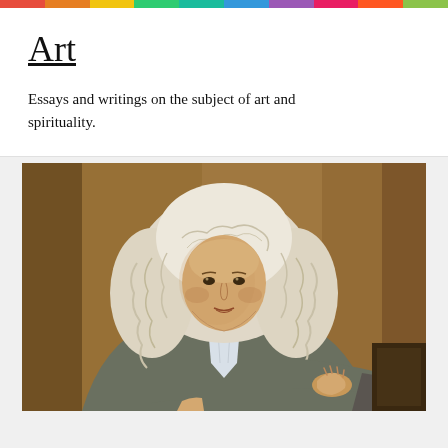[Figure (other): Rainbow-colored horizontal bar at the top of the page]
Art
Essays and writings on the subject of art and spirituality.
[Figure (photo): Classical oil painting portrait of a man in a white powdered wig and grey coat, seated, leaning on a surface, likely Isaac Newton or similar 17th-18th century figure]